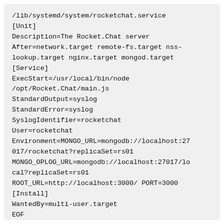/lib/systemd/system/rocketchat.service
[Unit]
Description=The Rocket.Chat server
After=network.target remote-fs.target nss-lookup.target nginx.target mongod.target
[Service]
ExecStart=/usr/local/bin/node /opt/Rocket.Chat/main.js
StandardOutput=syslog
StandardError=syslog
SyslogIdentifier=rocketchat
User=rocketchat
Environment=MONGO_URL=mongodb://localhost:27017/rocketchat?replicaSet=rs01
MONGO_OPLOG_URL=mongodb://localhost:27017/local?replicaSet=rs01
ROOT_URL=http://localhost:3000/ PORT=3000
[Install]
WantedBy=multi-user.target
EOF